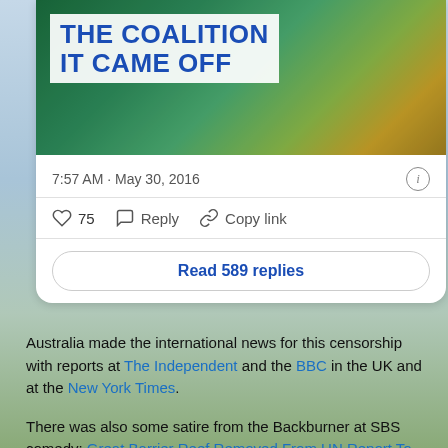[Figure (screenshot): Social media card showing tweet with coral reef image and headline 'THE COALITION IT CAME OFF', timestamped 7:57 AM · May 30, 2016, with 75 likes, Reply, Copy link actions, and 'Read 589 replies' button]
Australia made the international news for this censorship with reports at The Independent and the BBC in the UK and at the New York Times.
There was also some satire from the Backburner at SBS comedy: Great Barrier Reef Removed From UN Report To Accurately Reflect Future.
Clearly other nations didn't have the same view with regard